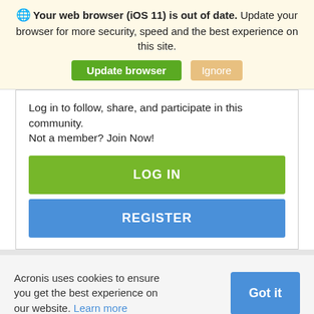Your web browser (iOS 11) is out of date. Update your browser for more security, speed and the best experience on this site.
Update browser | Ignore
Log in to follow, share, and participate in this community.
Not a member? Join Now!
LOG IN
REGISTER
Acronis uses cookies to ensure you get the best experience on our website. Learn more
Got it